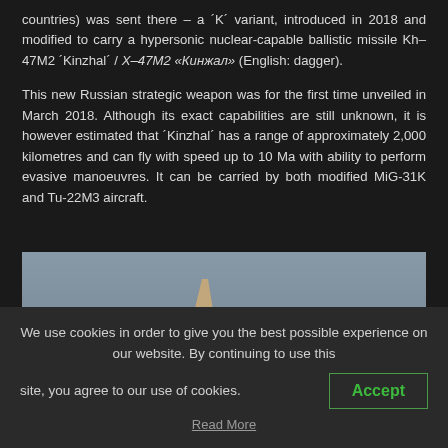countries) was sent there – a ´K´ variant, introduced in 2018 and modified to carry a hypersonic nuclear-capable ballistic missile Kh–47M2 ´Kinzhal´ / X–47M2 «Кинжал» (English: dagger).
This new Russian strategic weapon was for the first time unveiled in March 2018. Although its exact capabilities are still unknown, it is however estimated that ´Kinzhal´ has a range of approximately 2,000 kilometres and can fly with speed up to 10 Ma with ability to perform evasive manoeuvres. It can be carried by both modified MiG-31K and Tu-22M3 aircraft.
[Figure (photo): Photograph of an aircraft (likely MiG-31K) against a grey sky background, showing the tail/rear section of the aircraft.]
We use cookies in order to give you the best possible experience on our website. By continuing to use this site, you agree to our use of cookies.
Accept
Read More